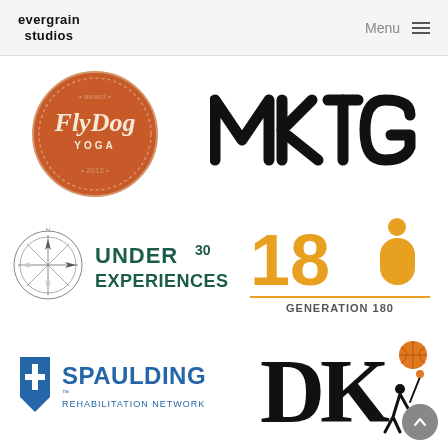[Figure (logo): evergrain studios wordmark logo in bold black text]
Menu
[Figure (logo): FlyDog Yoga circular badge logo in orange/rust color with text 'FlyDog YOGA' in white]
[Figure (logo): MKTG wordmark logo in bold black geometric letters]
[Figure (logo): Under 30 Experiences logo with compass rose icon and dark teal text 'UNDER 30 EXPERIENCES']
[Figure (logo): Generation 180 logo with orange '180' numerals, orange person icon, and text 'GENERATION 180']
[Figure (logo): Spaulding Rehabilitation Network logo with blue shield cross icon and text]
[Figure (logo): DK sports logo with stylized letters and basketball player graphic in black]